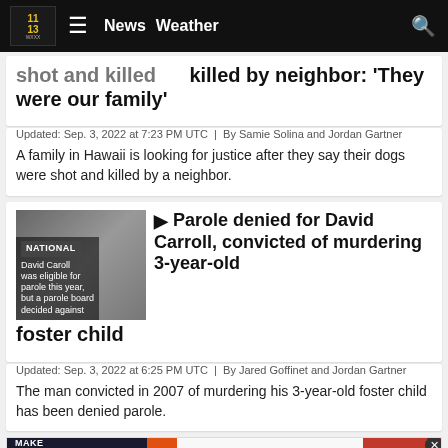News | Weather
shot and killed  killed by neighbor: 'They were our family'
Updated: Sep. 3, 2022 at 7:23 PM UTC  |  By Samie Solina and Jordan Gartner
A family in Hawaii is looking for justice after they say their dogs were shot and killed by a neighbor.
Parole denied for David Carroll, convicted of murdering 3-year-old foster child
Updated: Sep. 3, 2022 at 6:25 PM UTC  |  By Jared Goffinet and Jordan Gartner
The man convicted in 2007 of murdering his 3-year-old foster child has been denied parole.
[Figure (screenshot): Advertisement banner: Make Your Old Glasses New Again for Someone in Need - Aurora Borealis Lions Eyeglass Recycling & Vision Center - Recycle Your Glasses]